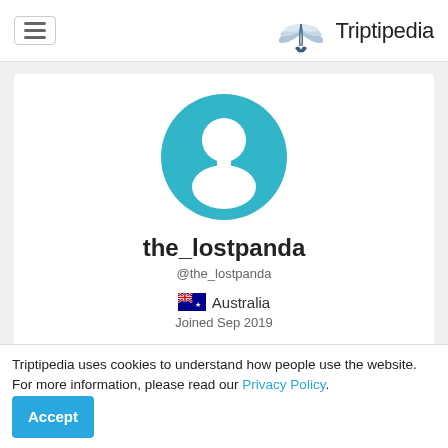Triptipedia
[Figure (illustration): Generic user profile avatar: teal/cyan circle with white silhouette of a person (head and shoulders)]
the_lostpanda
@the_lostpanda
🇦🇺 Australia
Joined Sep 2019
2
0
Triptipedia uses cookies to understand how people use the website. For more information, please read our Privacy Policy. Accept